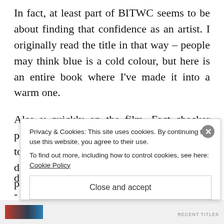In fact, at least part of BITWC seems to be about finding that confidence as an artist. I originally read the title in that way – people may think blue is a cold colour, but here is an entire book where I've made it into a warm one.
Also v quickly on the film. Fact checker point: the BITWC story was spliced together with another story the director was developing at the time, and I think that's partly why they ended up as v d... s -
Privacy & Cookies: This site uses cookies. By continuing to use this website, you agree to their use.
To find out more, including how to control cookies, see here: Cookie Policy
Close and accept